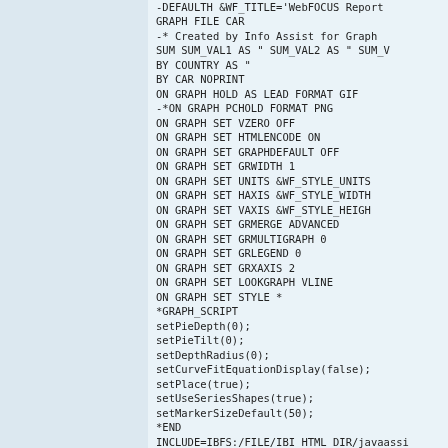[Figure (screenshot): Code editor or script view showing WebFOCUS report/graph configuration script with commands like GRAPH FILE CAR, SUM, BY COUNTRY, ON GRAPH SET, *GRAPH_SCRIPT, setPieDepth, setPieTilt, setDepthRadius, setCurveFitEquationDisplay, setPlace, setUseSeriesShapes, setMarkerSizeDefault, *END, INCLUDE, TYPE=REPORT lines]